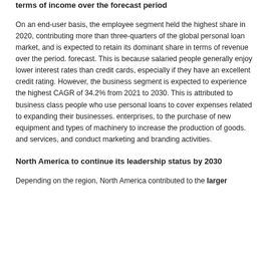terms of income over the forecast period
On an end-user basis, the employee segment held the highest share in 2020, contributing more than three-quarters of the global personal loan market, and is expected to retain its dominant share in terms of revenue over the period. forecast. This is because salaried people generally enjoy lower interest rates than credit cards, especially if they have an excellent credit rating. However, the business segment is expected to experience the highest CAGR of 34.2% from 2021 to 2030. This is attributed to business class people who use personal loans to cover expenses related to expanding their businesses. enterprises, to the purchase of new equipment and types of machinery to increase the production of goods. and services, and conduct marketing and branding activities.
North America to continue its leadership status by 2030
Depending on the region, North America contributed to the larger